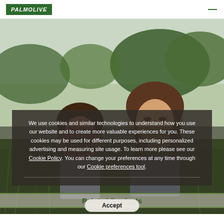PALMOLIVE
[Figure (photo): A smiling couple outdoors in a grassy field with trees in the background. The woman has long brown hair and is laughing; the man has a beard and is smiling at the woman.]
We use cookies and similar technologies to understand how you use our website and to create more valuable experiences for you. These cookies may be used for different purposes, including personalized advertising and measuring site usage. To learn more please see our Cookie Policy. You can change your preferences at any time through our Cookie preferences tool.
Related Products